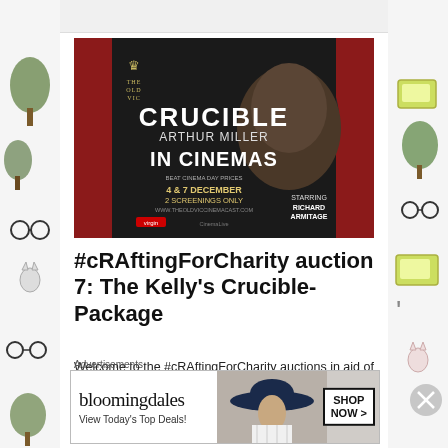[Figure (photo): Movie poster: The Old Vic presents Crucible by Arthur Miller, IN CINEMAS, 4 & 7 December, 2 Screenings Only, starring Richard Armitage. Dark background with man's face.]
#cRAftingForCharity auction 7: The Kelly's Crucible-Package
Welcome to the #cRAftingForCharity auctions in aid of the Syrian Children's Relief Fund! Whether you were privileged to watch Richard live on stage last year in his seminal performance of The
Advertisements
[Figure (screenshot): Bloomingdale's advertisement banner: logo, 'View Today's Top Deals!', woman in hat, 'SHOP NOW >' button]